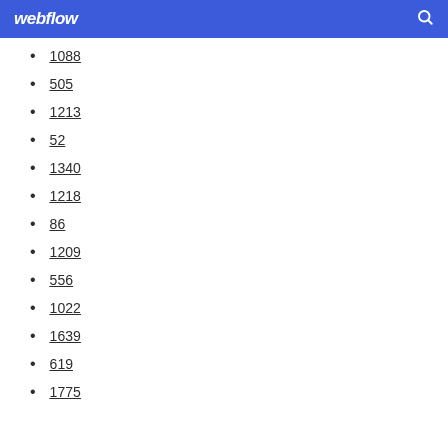webflow
1088
505
1213
52
1340
1218
86
1209
556
1022
1639
619
1775